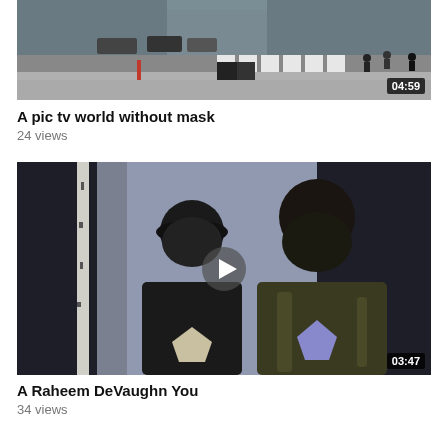[Figure (screenshot): Video thumbnail showing a street scene with a crosswalk, pedestrians, and city sidewalk. Duration badge shows 04:59.]
A pic tv world without mask
24 views
[Figure (screenshot): Video thumbnail showing two men in dark jackets standing in front of a light background. A play button is visible in the center. Duration badge shows 03:47.]
A Raheem DeVaughn You
34 views